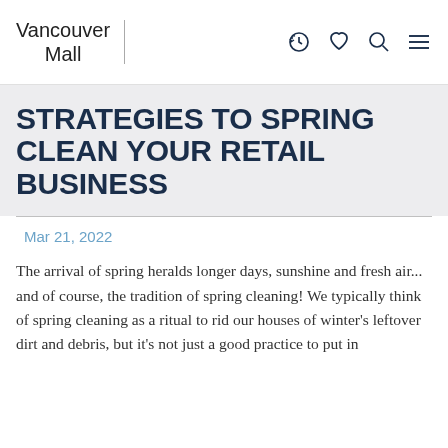Vancouver Mall
STRATEGIES TO SPRING CLEAN YOUR RETAIL BUSINESS
Mar 21, 2022
The arrival of spring heralds longer days, sunshine and fresh air... and of course, the tradition of spring cleaning! We typically think of spring cleaning as a ritual to rid our houses of winter's leftover dirt and debris, but it's not just a good practice to put in